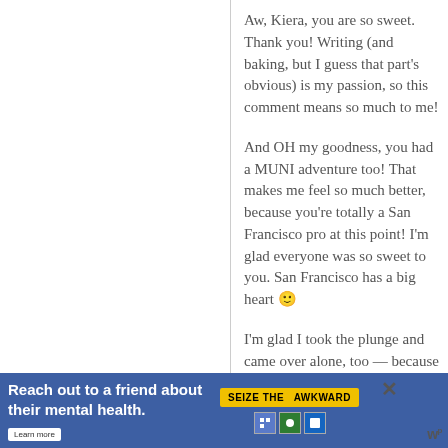Aw, Kiera, you are so sweet. Thank you! Writing (and baking, but I guess that part's obvious) is my passion, so this comment means so much to me!
And OH my goodness, you had a MUNI adventure too! That makes me feel so much better, because you're totally a San Francisco pro at this point! I'm glad everyone was so sweet to you. San Francisco has a big heart 🙂
I'm glad I took the plunge and came over alone, too — because as
[Figure (other): Advertisement banner: 'Reach out to a friend about their mental health. Learn more' with SEIZE THE AWKWARD badge and sponsor logos, blue background]